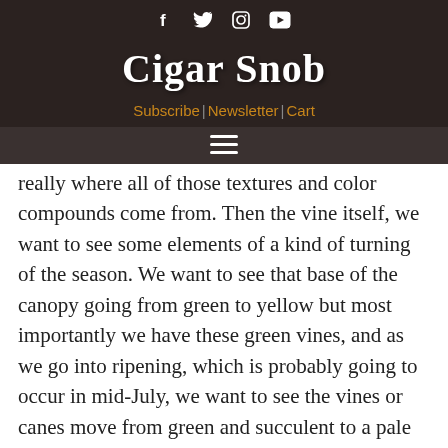Cigar Snob | Subscribe | Newsletter | Cart
really where all of those textures and color compounds come from. Then the vine itself, we want to see some elements of a kind of turning of the season. We want to see that base of the canopy going from green to yellow but most importantly we have these green vines, and as we go into ripening, which is probably going to occur in mid-July, we want to see the vines or canes move from green and succulent to a pale yellow color and eventually start as a copper color at the base and migrate all the way up to the tip. When we see that, which is actually